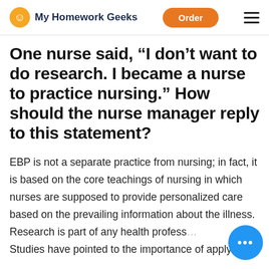My Homework Geeks | Order
One nurse said, “I don’t want to do research. I became a nurse to practice nursing.” How should the nurse manager reply to this statement?
EBP is not a separate practice from nursing; in fact, it is based on the core teachings of nursing in which nurses are supposed to provide personalized care based on the prevailing information about the illness. Research is part of any health profess… Studies have pointed to the importance of applying…